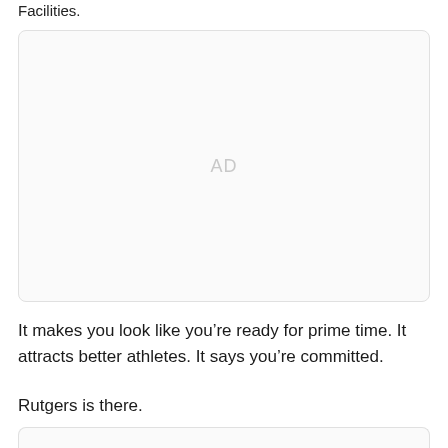Facilities.
[Figure (other): Advertisement placeholder box with 'AD' label centered inside a light gray rounded rectangle]
It makes you look like you’re ready for prime time. It attracts better athletes. It says you’re committed.
Rutgers is there.